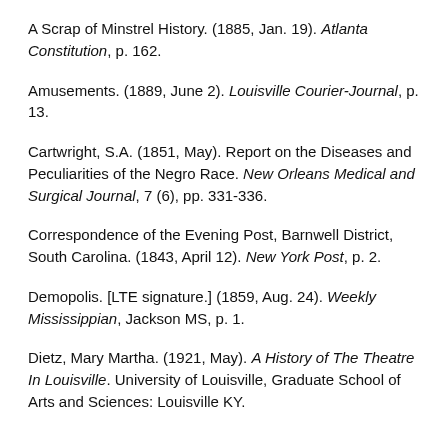A Scrap of Minstrel History. (1885, Jan. 19). Atlanta Constitution, p. 162.
Amusements. (1889, June 2). Louisville Courier-Journal, p. 13.
Cartwright, S.A. (1851, May). Report on the Diseases and Peculiarities of the Negro Race. New Orleans Medical and Surgical Journal, 7 (6), pp. 331-336.
Correspondence of the Evening Post, Barnwell District, South Carolina. (1843, April 12). New York Post, p. 2.
Demopolis. [LTE signature.] (1859, Aug. 24). Weekly Mississippian, Jackson MS, p. 1.
Dietz, Mary Martha. (1921, May). A History of The Theatre In Louisville. University of Louisville, Graduate School of Arts and Sciences: Louisville KY.